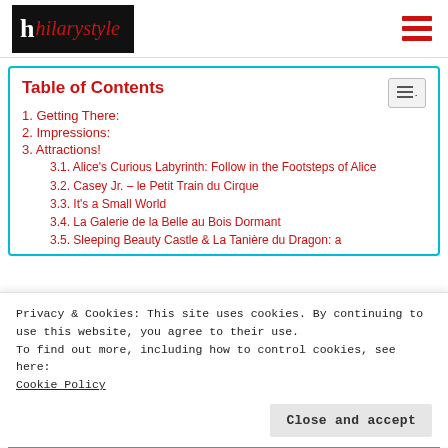[Figure (logo): Hilary Style blog logo — black rectangle with white 'h' and red cursive 'hilarystyle' text]
Table of Contents
1. Getting There:
2. Impressions:
3. Attractions!
3.1. Alice's Curious Labyrinth: Follow in the Footsteps of Alice
3.2. Casey Jr. – le Petit Train du Cirque
3.3. It's a Small World
3.4. La Galerie de la Belle au Bois Dormant
3.5. Sleeping Beauty Castle & La Tanière du Dragon: a
Privacy & Cookies: This site uses cookies. By continuing to use this website, you agree to their use.
To find out more, including how to control cookies, see here:
Cookie Policy
Close and accept
West